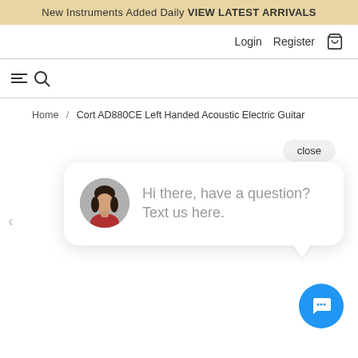New Instruments Added Daily VIEW LATEST ARRIVALS
Login   Register
[Figure (screenshot): Hamburger menu icon with magnifying glass search icon]
Home / Cort AD880CE Left Handed Acoustic Electric Guitar
close
Hi there, have a question? Text us here.
[Figure (illustration): Blue circular chat button with speech bubble icon]